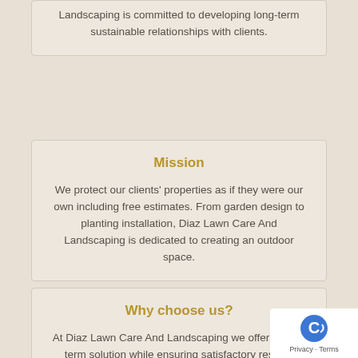Landscaping is committed to developing long-term sustainable relationships with clients.
Mission
We protect our clients' properties as if they were our own including free estimates. From garden design to planting installation, Diaz Lawn Care And Landscaping is dedicated to creating an outdoor space.
Why choose us?
At Diaz Lawn Care And Landscaping we offer a long-term solution while ensuring satisfactory results, saving time, energy, fertilizers and money. We strive to ensure that you have the entire experience.